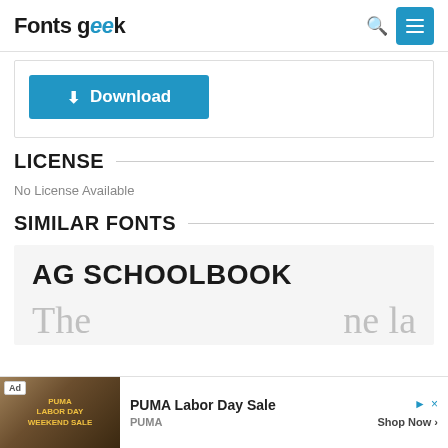Fonts geek
[Figure (screenshot): Download button in blue with download icon]
LICENSE
No License Available
SIMILAR FONTS
AG SCHOOLBOOK
[Figure (screenshot): Advertisement banner for PUMA Labor Day Sale with ad image on left and Shop Now call to action]